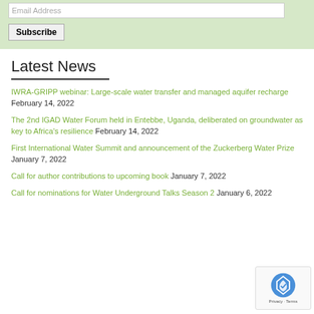Email Address
Subscribe
Latest News
IWRA-GRIPP webinar: Large-scale water transfer and managed aquifer recharge February 14, 2022
The 2nd IGAD Water Forum held in Entebbe, Uganda, deliberated on groundwater as key to Africa's resilience February 14, 2022
First International Water Summit and announcement of the Zuckerberg Water Prize January 7, 2022
Call for author contributions to upcoming book January 7, 2022
Call for nominations for Water Underground Talks Season 2 January 6, 2022
[Figure (logo): reCAPTCHA logo with Privacy and Terms text]